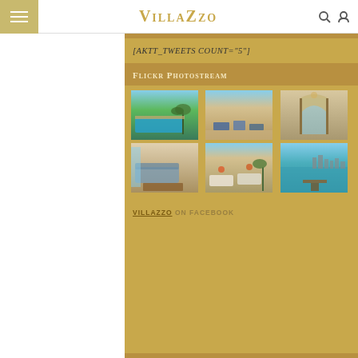VillaZzo
[AKTT_TWEETS COUNT="5"]
Flickr Photostream
[Figure (photo): Grid of 6 luxury real estate photos: pool with palm trees and waterfront, outdoor terrace/dining area, elegant interior archway with water view, living room with wood coffee table, outdoor lounge with tropical plants, waterfront dock with city skyline]
VILLAZZO ON FACEBOOK